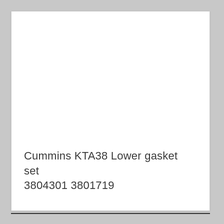Cummins KTA38 Lower gasket set 3804301 3801719